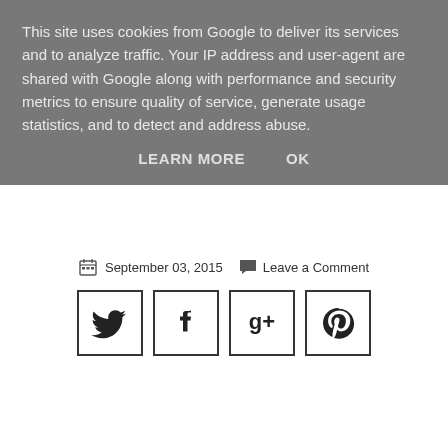This site uses cookies from Google to deliver its services and to analyze traffic. Your IP address and user-agent are shared with Google along with performance and security metrics to ensure quality of service, generate usage statistics, and to detect and address abuse.
LEARN MORE   OK
September 03, 2015   Leave a Comment
[Figure (other): Four social media share buttons in bordered squares: Twitter bird icon, Facebook 'f' icon, Google+ icon, Pinterest 'p' icon]